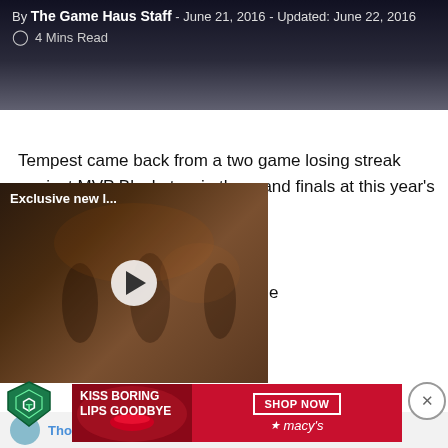By The Game Haus Staff - June 21, 2016 - Updated: June 22, 2016  4 Mins Read
Tempest came back from a two game losing streak against MVP Black, to win the grand finals at this year's Dreamhack Summer ...wn but they had some decisive ...t turned the tide. Tempest went ...g MVP Black two weeks ago in the ...All five games were incredibly ...draft picks that are uncommon in the competitive scene.
[Figure (screenshot): Embedded video overlay showing 'Exclusive new l...' with play button over a dark fantasy scene background]
[Figure (photo): Macy's advertisement banner: KISS BORING LIPS GOODBYE with SHOP NOW button and Macy's star logo]
Thomas Kilian